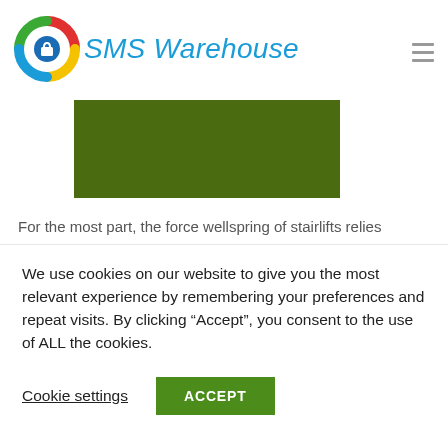[Figure (logo): SMS Warehouse logo with colorful swirl icon and blue italic brand name text]
[Figure (photo): Green rectangular image placeholder]
For the most part, the force wellspring of stairlifts relies
We use cookies on our website to give you the most relevant experience by remembering your preferences and repeat visits. By clicking “Accept”, you consent to the use of ALL the cookies.
Cookie settings
ACCEPT